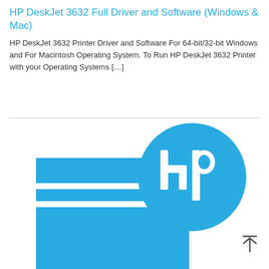HP DeskJet 3632 Full Driver and Software (Windows & Mac)
HP DeskJet 3632 Printer Driver and Software For 64-bit/32-bit Windows and For Macintosh Operating System. To Run HP DeskJet 3632 Printer with your Operating Systems […]
[Figure (logo): HP logo — blue circle with white 'hp' letters, and blue rectangular banner/folder shape below and to the left, on white background]